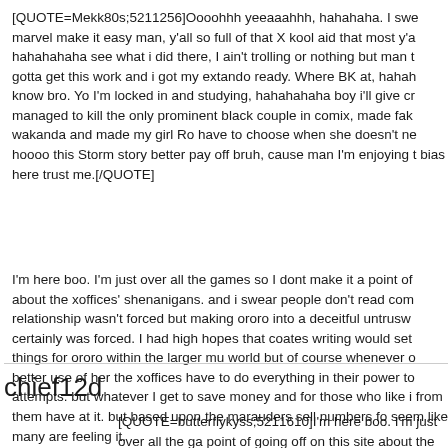[QUOTE=Mekk80s;5211256]Oooohhh yeeaaahhh, hahahaha. I swe marvel make it easy man, y'all so full of that X kool aid that most y'a hahahahaha see what i did there, I ain't trolling or nothing but man t gotta get this work and i got my extando ready. Where BK at, hahah know bro. Yo I'm locked in and studying, hahahahaha boy i'll give cr managed to kill the only prominent black couple in comix, made fak wakanda and made my girl Ro have to choose when she doesn't ne hoooo this Storm story better pay off bruh, cause man I'm enjoying t bias here trust me.[/QUOTE]
I'm here boo. I'm just over all the games so I dont make it a point of about the xoffices' shenanigans. and i swear people don't read com relationship wasn't forced but making ororo into a deceitful untrusw certainly was forced. I had high hopes that coates writing would set things for ororo within the larger mu world but of course whenever o better use of her the xoffices have to do everything in their power to attempts. but whatever I get to save money and for those who like i from them have at it. but based upon the marauders sell numbers fo seem like many are feeling it.
chief12d
[QUOTE=butterflykyss;5211610]I'm here boo. I'm just over all the ga point of going off on this site about the xoffices' shenanigans. and i s comics. tchalla and ororo relationship wasn't forced but making ororo